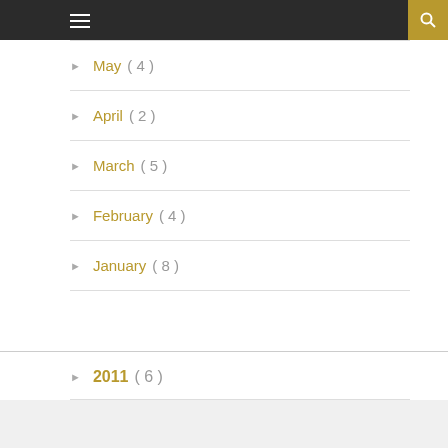Navigation header bar with hamburger menu and search button
▶ May ( 4 )
▶ April ( 2 )
▶ March ( 5 )
▶ February ( 4 )
▶ January ( 8 )
▶ 2011 ( 6 )